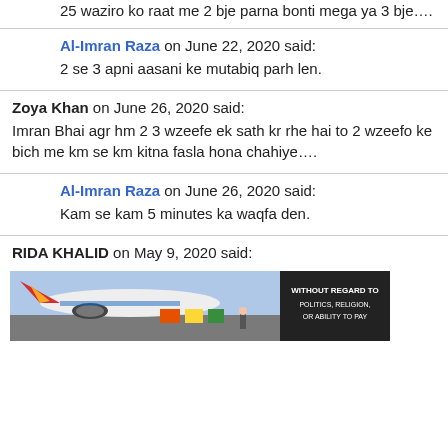25 waziro ko raat me 2 bje parna bonti mega ya 3 bje....
Al-Imran Raza on June 22, 2020 said:
2 se 3 apni aasani ke mutabiq parh len.
Zoya Khan on June 26, 2020 said:
Imran Bhai agr hm 2 3 wzeefe ek sath kr rhe hai to 2 wzeefo ke bich me km se km kitna fasla hona chahiye....
Al-Imran Raza on June 26, 2020 said:
Kam se kam 5 minutes ka waqfa den.
RIDA KHALID on May 9, 2020 said:
[Figure (photo): Airplane on tarmac with cargo loading, advertisement banner overlay reading WITHOUT REGARD TO POLITICS, RELIGION, OR ABILITY TO PAY]